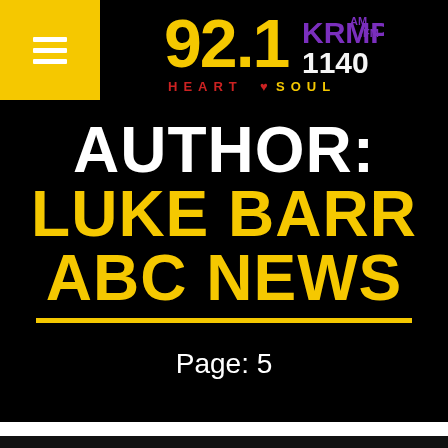92.1 KRMP AM/FM 1140 HEART SOUL — radio station logo header
AUTHOR: LUKE BARR ABC NEWS
Page: 5
[Figure (screenshot): Social share bar with icons for Facebook, Twitter, Pinterest, LinkedIn, WhatsApp, and a favorites/heart icon on yellow background]
Navigation bar with search and copy icons